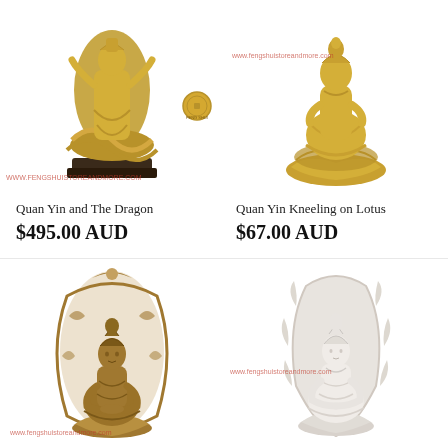[Figure (photo): Gold statue of Quan Yin standing on a dragon with dark wood base]
[Figure (photo): Gold statue of Quan Yin kneeling on a lotus base]
Quan Yin and The Dragon
$495.00 AUD
Quan Yin Kneeling on Lotus
$67.00 AUD
[Figure (photo): Bronze/antique-toned Quan Yin statue with ornate mandorla halo backdrop, seated on lotus]
[Figure (photo): White/marble-colored Quan Yin statue seated with ornate floral backdrop]